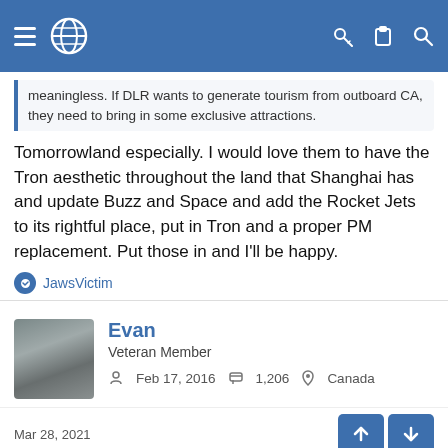Navigation bar with menu, globe icon, key, clipboard, and search icons
meaningless. If DLR wants to generate tourism from outboard CA, they need to bring in some exclusive attractions.
Tomorrowland especially. I would love them to have the Tron aesthetic throughout the land that Shanghai has and update Buzz and Space and add the Rocket Jets to its rightful place, put in Tron and a proper PM replacement. Put those in and I'll be happy.
JawsVictim
Evan
Veteran Member
Feb 17, 2016  1,206  Canada
Mar 28, 2021
Freak said:
Now, I have not been to all of the Disney parks (Just DLR, WDW, and